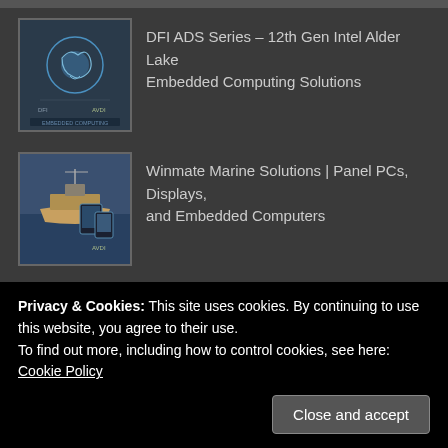[Figure (screenshot): Thumbnail image for DFI ADS Series – 12th Gen Intel Alder Lake Embedded Computing Solutions, showing a circuit board / brain graphic with AVDI branding]
DFI ADS Series – 12th Gen Intel Alder Lake Embedded Computing Solutions
[Figure (screenshot): Thumbnail image for Winmate Marine Solutions, showing a ship with tablet displays and AVDI branding]
Winmate Marine Solutions | Panel PCs, Displays, and Embedded Computers
CONTACT DETAILS
BVM Ltd
Lakeside House,
Waltham Business Park,
Brickyard Road,
Privacy & Cookies: This site uses cookies. By continuing to use this website, you agree to their use.
To find out more, including how to control cookies, see here: Cookie Policy